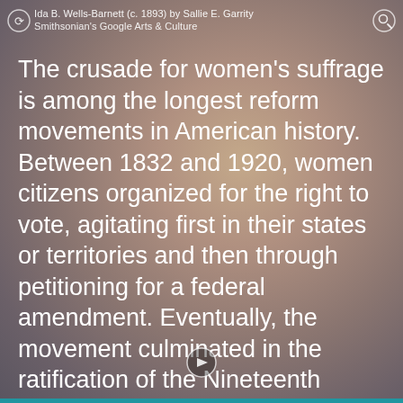Ida B. Wells-Barnett (c. 1893) by Sallie E. Garrity
Smithsonian's Google Arts & Culture
The crusade for women's suffrage is among the longest reform movements in American history. Between 1832 and 1920, women citizens organized for the right to vote, agitating first in their states or territories and then through petitioning for a federal amendment. Eventually, the movement culminated in the ratification of the Nineteenth Amendment in 1920.
Earlier histories of suffrage and women's activism tend to overlook the work of African Americans and other women of color. Leading up to the centennial of the Nineteenth Amendment, this exhibition seeks to tell a more complete story of the movement through portraits of women who represent different races, ages, and fields of endeavor.